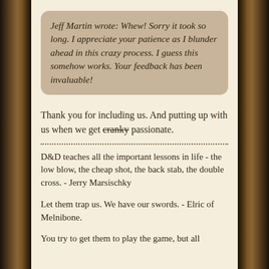Jeff Martin wrote: Whew! Sorry it took so long. I appreciate your patience as I blunder ahead in this crazy process. I guess this somehow works. Your feedback has been invaluable!
Thank you for including us. And putting up with us when we get cranky passionate.
D&D teaches all the important lessons in life - the low blow, the cheap shot, the back stab, the double cross. - Jerry Marsischky
Let them trap us. We have our swords. - Elric of Melnibone.
You try to get them to play the game, but all